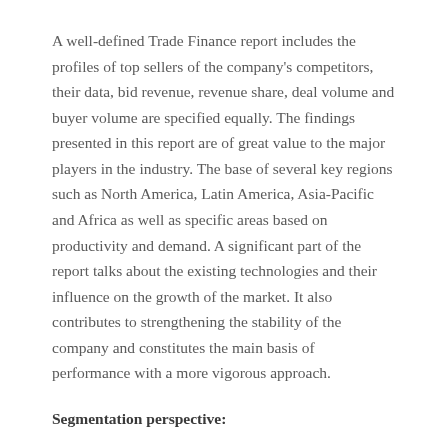A well-defined Trade Finance report includes the profiles of top sellers of the company's competitors, their data, bid revenue, revenue share, deal volume and buyer volume are specified equally. The findings presented in this report are of great value to the major players in the industry. The base of several key regions such as North America, Latin America, Asia-Pacific and Africa as well as specific areas based on productivity and demand. A significant part of the report talks about the existing technologies and their influence on the growth of the market. It also contributes to strengthening the stability of the company and constitutes the main basis of performance with a more vigorous approach.
Segmentation perspective:
The report offers an in-depth analysis of the segments and sub-segments of the Commercial Finance market. It provides a broad perspective regarding the performance, market valuation and